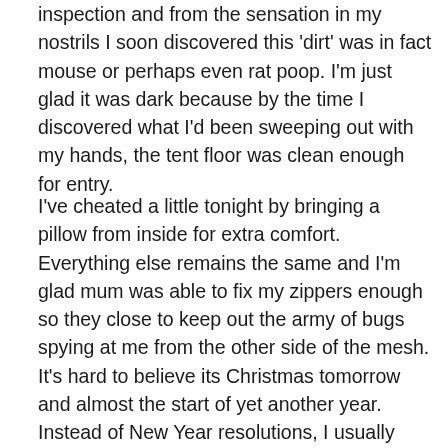inspection and from the sensation in my nostrils I soon discovered this 'dirt' was in fact mouse or perhaps even rat poop. I'm just glad it was dark because by the time I discovered what I'd been sweeping out with my hands, the tent floor was clean enough for entry.
I've cheated a little tonight by bringing a pillow from inside for extra comfort. Everything else remains the same and I'm glad mum was able to fix my zippers enough so they close to keep out the army of bugs spying at me from the other side of the mesh. It's hard to believe its Christmas tomorrow and almost the start of yet another year. Instead of New Year resolutions, I usually name the year ahead on December 31st. 2013 was the year of 'Adventure', and that certainly rang true. I haven't thought of a name for 2014 just yet. I know it will have elements of adventure and many other novelties along the way. I still have a few